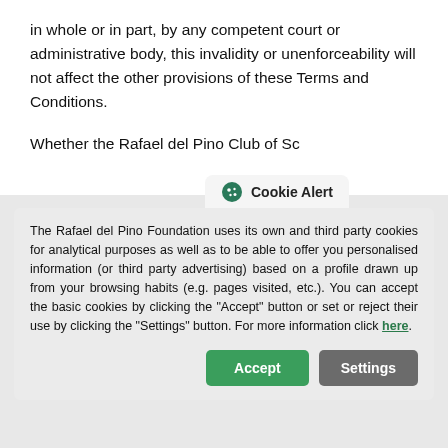in whole or in part, by any competent court or administrative body, this invalidity or unenforceability will not affect the other provisions of these Terms and Conditions.
Whether the Rafael del Pino Club of Sc[holars or]
the Association of Rafael del Pino Excellence Scholars exercises or refrains from exercising any right or [remedy available to the Rafael del Pino Foundation (or set forth in the Association of Rafael del Pino Excellence Scholars)] agrees to this in writing.
[Figure (screenshot): Cookie Alert dialog box overlay. Header reads 'Cookie Alert' with a cookie icon. Body text: 'The Rafael del Pino Foundation uses its own and third party cookies for analytical purposes as well as to be able to offer you personalised information (or third party advertising) based on a profile drawn up from your browsing habits (e.g. pages visited, etc.). You can accept the basic cookies by clicking the "Accept" button or set or reject their use by clicking the "Settings" button. For more information click here.' Two buttons: Accept (green) and Settings (gray).]